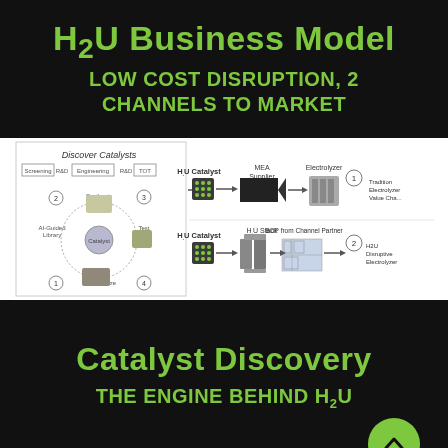H2U Business Model
LOW COST DISRUPTION, 2 CHANNELS TO MARKET
[Figure (infographic): Business model diagram showing two channels to market: Channel 1 (Traditional Electrolyzer Value Chain) with Discover Catalysts cycle, H.U Catalyst, MEA Supplier, and Electrolyzer; Channel 2 (H2U Disruptive Electrolyzer) with H.U Catalyst, H.U Stack, and BOP from Channel Partner.]
Catalyst Discovery
THE ENGINE BEHIND H2U